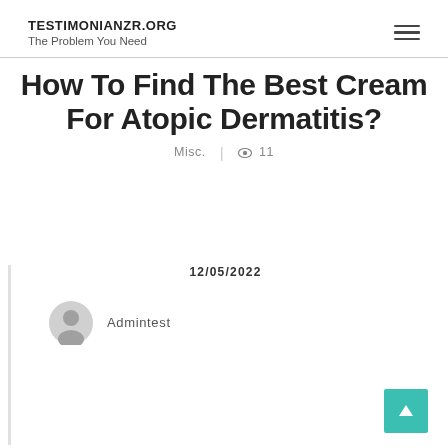TESTIMONIANZR.ORG
The Problem You Need
How To Find The Best Cream For Atopic Dermatitis?
Misc.  |  👁 11
12/05/2022
Admintest